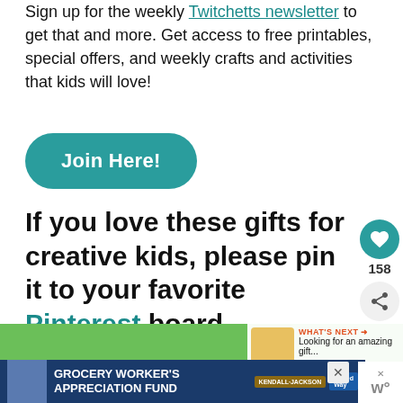Sign up for the weekly Twitchetts newsletter to get that and more. Get access to free printables, special offers, and weekly crafts and activities that kids will love!
[Figure (other): Teal rounded rectangle button labeled 'Join Here!']
If you love these gifts for creative kids, please pin it to your favorite Pinterest board.
[Figure (other): Social sidebar with heart/like button showing 158 count and share button]
[Figure (other): Green banner with 'WHAT'S NEXT' panel showing 'Looking for an amazing gift...']
[Figure (other): Advertisement banner: Grocery Worker's Appreciation Fund with Kendall-Jackson and United Way logos]